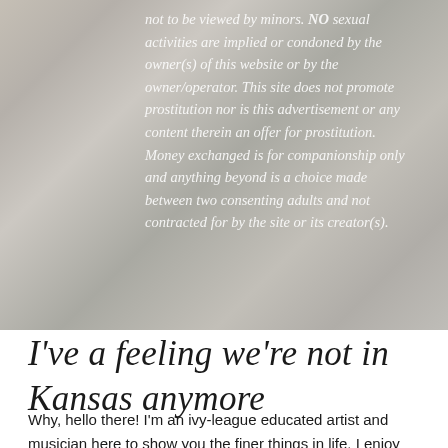[Figure (photo): Blurred gradient background image (silver/grey tones) serving as backdrop for disclaimer text overlay]
not to be viewed by minors. NO sexual activities are implied or condoned by the owner(s) of this website or by the owner/operator. This site does not promote prostitution nor is this advertisement or any content therein an offer for prostitution. Money exchanged is for companionship only and anything beyond is a choice made between two consenting adults and not contracted for by the site or its creator(s).
I've a feeling we're not in Kansas anymore
Why, hello there! I'm an ivy-league educated artist and musician here to show you the finer things in life. I enjoy everything from a nice